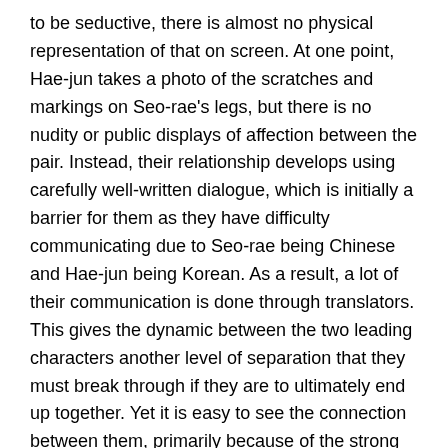to be seductive, there is almost no physical representation of that on screen. At one point, Hae-jun takes a photo of the scratches and markings on Seo-rae's legs, but there is no nudity or public displays of affection between the pair. Instead, their relationship develops using carefully well-written dialogue, which is initially a barrier for them as they have difficulty communicating due to Seo-rae being Chinese and Hae-jun being Korean. As a result, a lot of their communication is done through translators. This gives the dynamic between the two leading characters another level of separation that they must break through if they are to ultimately end up together. Yet it is easy to see the connection between them, primarily because of the strong performances given by Park Hae-il and Tang Wei as they convey that which is unspoken through subliminally expressed feelings of desire.
While Park Chan-wook may be subverting expectations with his narrative, his technical prowess continues to shine just as strongly as ever. "Decision To Leave" is a visually stunning